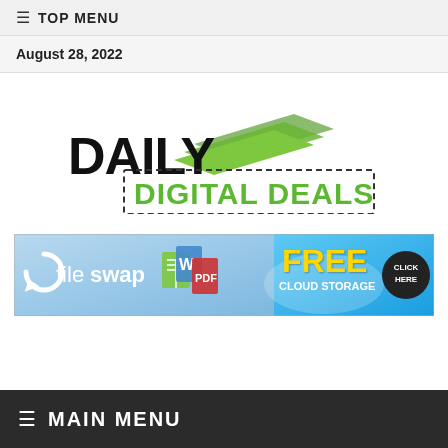≡ TOP MENU
August 28, 2022
[Figure (logo): Daily Digital Deals logo with green stacked cards icon and dashed border rectangle around 'DIGITAL DEALS' text]
[Figure (infographic): Fileswap Free Cloud Storage advertisement banner with blue cloud background, file icons, FREE text in yellow, and CLICK HERE button]
≡ MAIN MENU